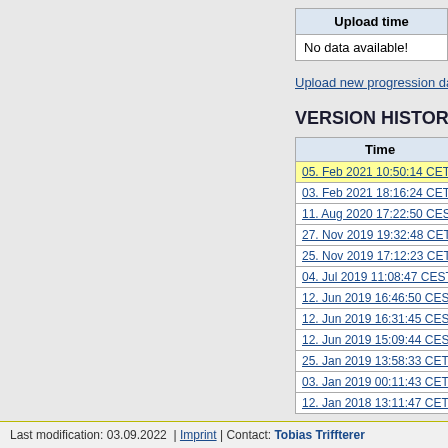| Upload time |
| --- |
| No data available! |
Upload new progression data...
VERSION HISTORY
| Time |  |
| --- | --- |
| 05. Feb 2021 10:50:14 CET | jr |
| 03. Feb 2021 18:16:24 CET | jr |
| 11. Aug 2020 17:22:50 CEST | jr |
| 27. Nov 2019 19:32:48 CET | jr |
| 25. Nov 2019 17:12:23 CET | jr |
| 04. Jul 2019 11:08:47 CEST | jr |
| 12. Jun 2019 16:46:50 CEST | jr |
| 12. Jun 2019 16:31:45 CEST | jr |
| 12. Jun 2019 15:09:44 CEST | jr |
| 25. Jan 2019 13:58:33 CET | m |
| 03. Jan 2019 00:11:43 CET | T |
| 12. Jan 2018 13:11:47 CET | T |
Last modification: 03.09.2022  |  Imprint  |  Contact: Tobias Triffterer